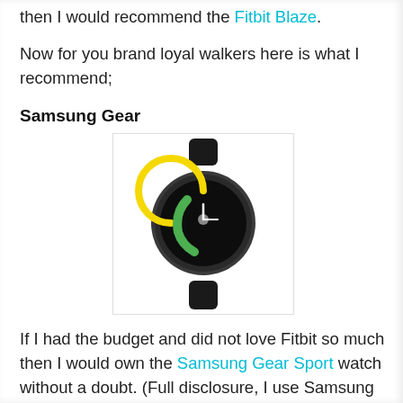then I would recommend the Fitbit Blaze.
Now for you brand loyal walkers here is what I recommend;
Samsung Gear
[Figure (photo): Photo of a Samsung Gear Sport smartwatch with a black band and yellow/green circular design on the watch face]
If I had the budget and did not love Fitbit so much then I would own the Samsung Gear Sport watch without a doubt. (Full disclosure, I use Samsung products- I use the Note 8 for business and personal. I LOVE the stylus)  Also, I should mention